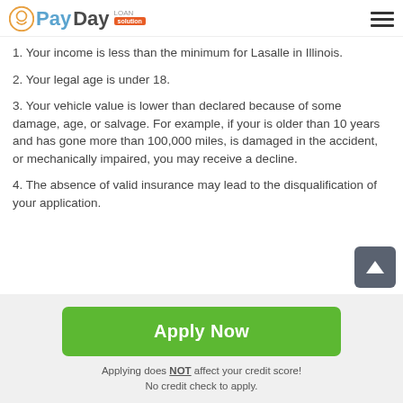PayDay Loan Solution
1. Your income is less than the minimum for Lasalle in Illinois.
2. Your legal age is under 18.
3. Your vehicle value is lower than declared because of some damage, age, or salvage. For example, if your is older than 10 years and has gone more than 100,000 miles, is damaged in the accident, or mechanically impaired, you may receive a decline.
4. The absence of valid insurance may lead to the disqualification of your application.
Apply Now
Applying does NOT affect your credit score!
No credit check to apply.